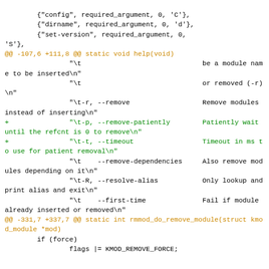Code diff showing changes to rmmod module with additions for --remove-patiently and --timeout options, and replacement of kmod_module_remove_module with kmod_module_remove_module_wait.